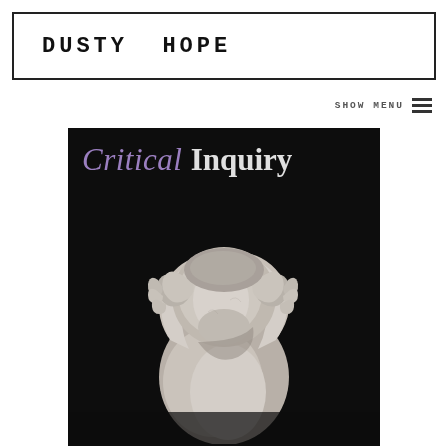DUSTY HOPE
SHOW MENU ☰
[Figure (illustration): Cover of Critical Inquiry journal showing the title text 'Critical Inquiry' (Critical in italic purple, Inquiry in bold white) over a black background with a black-and-white photograph of a marble sculpture of a figure with hands clasped around their head/face in anguish.]